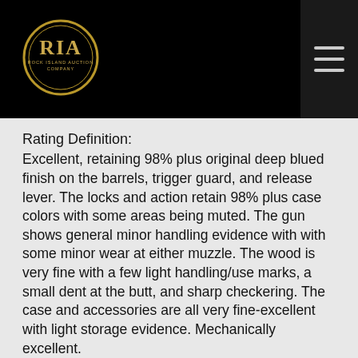[Figure (logo): Rock Island Auction Company (RIA) circular logo in gold on black background]
Rating Definition:
Excellent, retaining 98% plus original deep blued finish on the barrels, trigger guard, and release lever. The locks and action retain 98% plus case colors with some areas being muted. The gun shows general minor handling evidence with with some minor wear at either muzzle. The wood is very fine with a few light handling/use marks, a small dent at the butt, and sharp checkering. The case and accessories are all very fine-excellent with light storage evidence. Mechanically excellent.